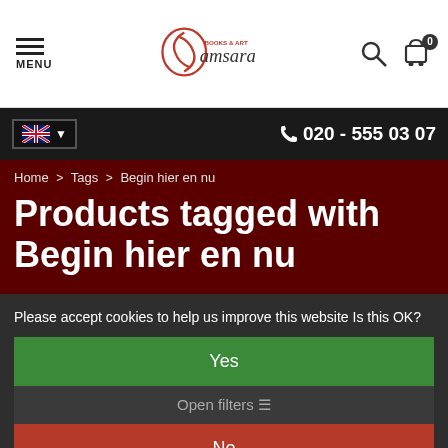MENU | Samsara Books & Art | Search | Cart 0
020 - 555 03 07
Home > Tags > Begin hier en nu
Products tagged with Begin hier en nu
Please accept cookies to help us improve this website Is this OK?
Yes
Open filters
No
Popularity
More on cookies »
1